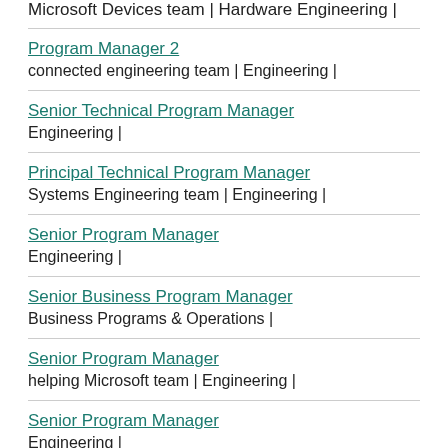Microsoft Devices team | Hardware Engineering |
Program Manager 2
connected engineering team | Engineering |
Senior Technical Program Manager
Engineering |
Principal Technical Program Manager
Systems Engineering team | Engineering |
Senior Program Manager
Engineering |
Senior Business Program Manager
Business Programs & Operations |
Senior Program Manager
helping Microsoft team | Engineering |
Senior Program Manager
Engineering |